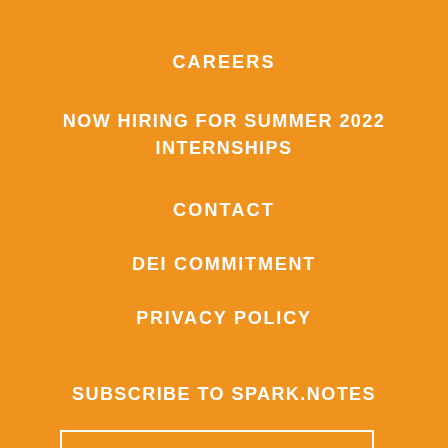CAREERS
NOW HIRING FOR SUMMER 2022 INTERNSHIPS
CONTACT
DEI COMMITMENT
PRIVACY POLICY
SUBSCRIBE TO SPARK.NOTES
Email Address